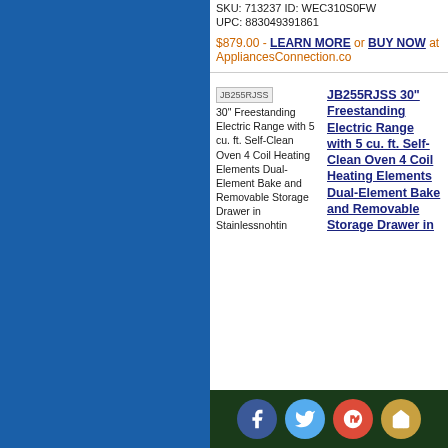SKU: 713237 ID: WEC310S0FW UPC: 883049391861
$879.00 - LEARN MORE or BUY NOW at AppliancesConnection.co...
[Figure (screenshot): Product listing thumbnail placeholder labeled JB255RJSS]
30" Freestanding Electric Range with 5 cu. ft. Self-Clean Oven 4 Coil Heating Elements Dual-Element Bake and Removable Storage Drawer in Stainlessnohtin
JB255RJSS 30" Freestanding Electric Range with 5 cu. ft. Self-Clean Oven 4 Coil Heating Elements Dual-Element Bake and Removable Storage Drawer in
[Figure (infographic): Footer bar with social media icons: Facebook, Twitter, Google+, and Home button]